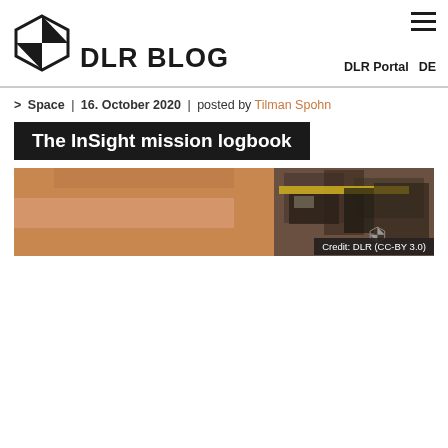DLR BLOG | DLR Portal | DE
> Space | 16. October 2020 | posted by Tilman Spohn
The InSight mission logbook
[Figure (photo): Panoramic image of the InSight Mars lander on the Martian surface, with reddish-brown soil and equipment visible. DLR logo appears in bottom right corner.]
Credit: DLR (CC-BY 3.0)